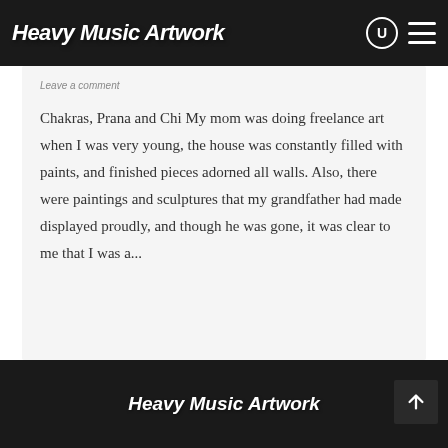Heavy Music Artwork
Leave a comment
Chakras, Prana and Chi My mom was doing freelance art when I was very young, the house was constantly filled with paints, and finished pieces adorned all walls. Also, there were paintings and sculptures that my grandfather had made displayed proudly, and though he was gone, it was clear to me that I was a...
Heavy Music Artwork